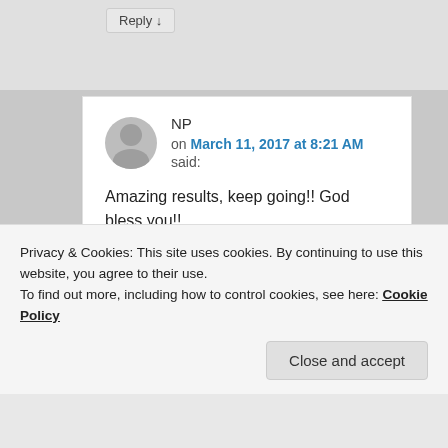Reply ↓
NP
on March 11, 2017 at 8:21 AM said:
Amazing results, keep going!! God bless you!!
★ Like
Reply ↓
Privacy & Cookies: This site uses cookies. By continuing to use this website, you agree to their use.
To find out more, including how to control cookies, see here: Cookie Policy
Close and accept